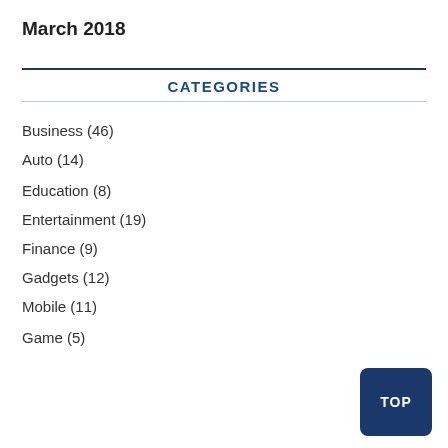March 2018
CATEGORIES
Business (46)
Auto (14)
Education (8)
Entertainment (19)
Finance (9)
Gadgets (12)
Mobile (11)
Game (5)